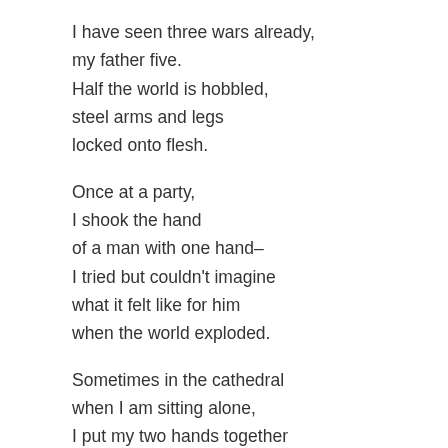I have seen three wars already,
my father five.
Half the world is hobbled,
steel arms and legs
locked onto flesh.

Once at a party,
I shook the hand
of a man with one hand–
I tried but couldn't imagine
what it felt like for him
when the world exploded.

Sometimes in the cathedral
when I am sitting alone,
I put my two hands together
for those who cannot,